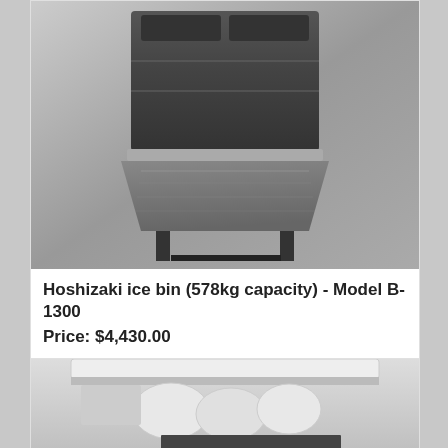[Figure (photo): Hoshizaki commercial ice bin, stainless steel, large rectangular unit with a forward-opening lower bin door, shown in black and white/greyscale against a gradient grey background.]
Hoshizaki ice bin (578kg capacity) - Model B-1300
Price: $4,430.00
More | Add to Quote
[Figure (photo): White under-counter ice maker machine with lid open showing ice and internal components, partially visible.]